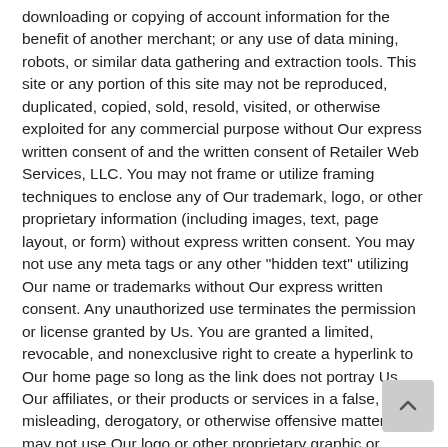downloading or copying of account information for the benefit of another merchant; or any use of data mining, robots, or similar data gathering and extraction tools. This site or any portion of this site may not be reproduced, duplicated, copied, sold, resold, visited, or otherwise exploited for any commercial purpose without Our express written consent of and the written consent of Retailer Web Services, LLC. You may not frame or utilize framing techniques to enclose any of Our trademark, logo, or other proprietary information (including images, text, page layout, or form) without express written consent. You may not use any meta tags or any other "hidden text" utilizing Our name or trademarks without Our express written consent. Any unauthorized use terminates the permission or license granted by Us. You are granted a limited, revocable, and nonexclusive right to create a hyperlink to Our home page so long as the link does not portray Us, Our affiliates, or their products or services in a false, misleading, derogatory, or otherwise offensive matter. You may not use Our logo or other proprietary graphic or trademark as part of the link without express written permission.